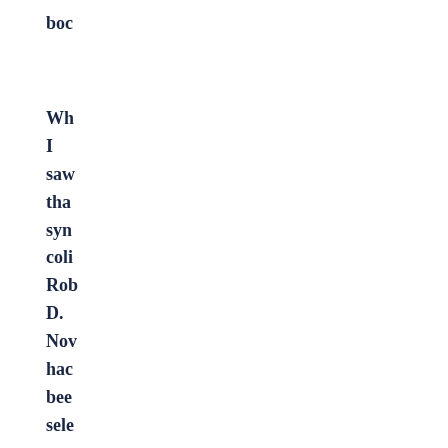boc
Wh I saw tha syn coli Rob D. Nov hac bee sele to wri the Nov 26 rev hea “M